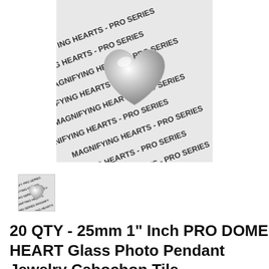[Figure (photo): Close-up photo of glass dome heart cabochon tiles on a sheet printed with repeating text 'MAGNIFYING HEARTS - PRO SERIES'. A shiny silver/glass heart-shaped dome is visible in the center, with the branded packaging text visible around it.]
[Figure (photo): Small thumbnail image of the same product showing the glass dome heart cabochon tiles on the branded packaging sheet.]
20 QTY - 25mm 1" Inch PRO DOME HEART Glass Photo Pendant Jewelry Cabochon Tile